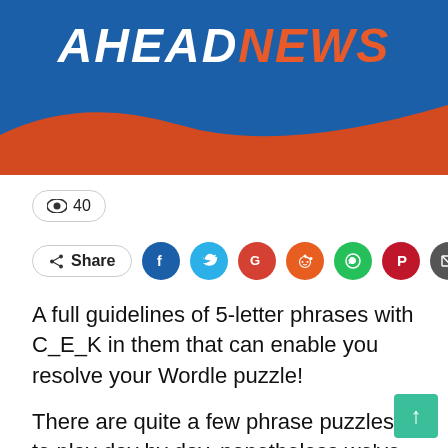[Figure (logo): AheadNews website banner logo with blue background, white and orange italic bold text 'AHEADNEWS', with a red/orange wave design at the bottom]
👁 40
Share (social icons: Facebook, Twitter, Google, Reddit, WhatsApp, Pinterest, Email)
A full guidelines of 5-letter phrases with C_E_K in them that can enable you resolve your Wordle puzzle!
There are quite a few phrase puzzles to play day by day, nonetheless we've found that quite a few persons are hooked on the viral sport Wordle, which entails using as a lot as six guesses to hunt out the five-letter phrase of